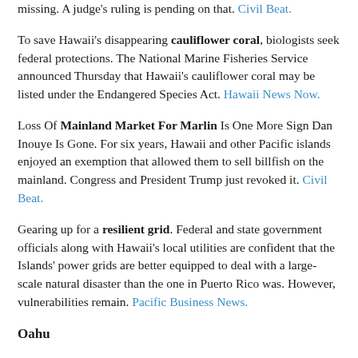missing. A judge's ruling is pending on that. Civil Beat.
To save Hawaii's disappearing cauliflower coral, biologists seek federal protections. The National Marine Fisheries Service announced Thursday that Hawaii's cauliflower coral may be listed under the Endangered Species Act. Hawaii News Now.
Loss Of Mainland Market For Marlin Is One More Sign Dan Inouye Is Gone. For six years, Hawaii and other Pacific islands enjoyed an exemption that allowed them to sell billfish on the mainland. Congress and President Trump just revoked it. Civil Beat.
Gearing up for a resilient grid. Federal and state government officials along with Hawaii's local utilities are confident that the Islands' power grids are better equipped to deal with a large-scale natural disaster than the one in Puerto Rico was. However, vulnerabilities remain. Pacific Business News.
Oahu